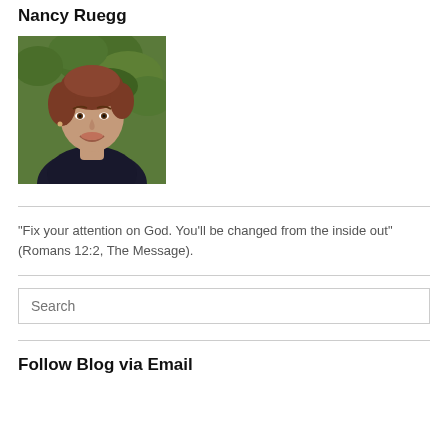Nancy Ruegg
[Figure (photo): Portrait photo of Nancy Ruegg, a woman with short brown hair, smiling, outdoors with green foliage in background]
"Fix your attention on God. You'll be changed from the inside out" (Romans 12:2, The Message).
Search
Follow Blog via Email